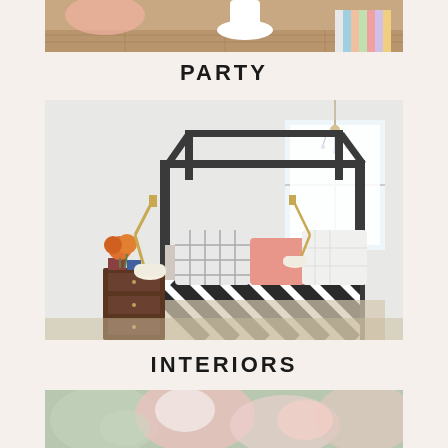[Figure (photo): Top portion of a party-themed photo showing wooden floor, white pendant lamp, and colorful striped items]
PARTY
[Figure (photo): Bedroom interior with a black four-poster canopy bed with black and white striped blanket, grid-patterned pillows with a pink accent pillow, white walls, a gold swing-arm lamp, dark wood nightstand with orange flowers, and a chandelier]
INTERIORS
[Figure (photo): Blurred bottom photo showing soft pink and sage green colors, likely flowers or decorative items]